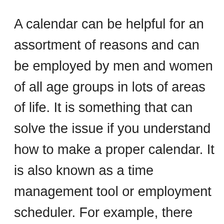A calendar can be helpful for an assortment of reasons and can be employed by men and women of all age groups in lots of areas of life. It is something that can solve the issue if you understand how to make a proper calendar. It is also known as a time management tool or employment scheduler. For example, there are utilitarian calendars with lots of space to jot down notes and appointments that can help you to maintain your company running smoothly. Think about using colour paper to generate the calendar more eye-catching and much less inclined to be missing. Calendars are quite self-explanatory, time-encapsulating apparatus, but simple resources are from time to time the very best tools and when they aren't on hand, disasters have a